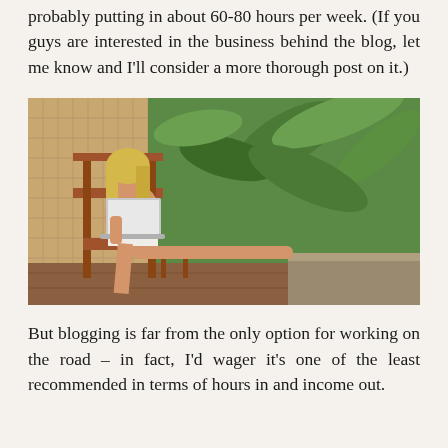probably putting in about 60-80 hours per week. (If you guys are interested in the business behind the blog, let me know and I'll consider a more thorough post on it.)
[Figure (photo): A blonde woman sitting on a wooden chair on an outdoor terrace surrounded by tropical green plants, using a laptop computer with her legs resting on a ledge.]
But blogging is far from the only option for working on the road – in fact, I'd wager it's one of the least recommended in terms of hours in and income out.